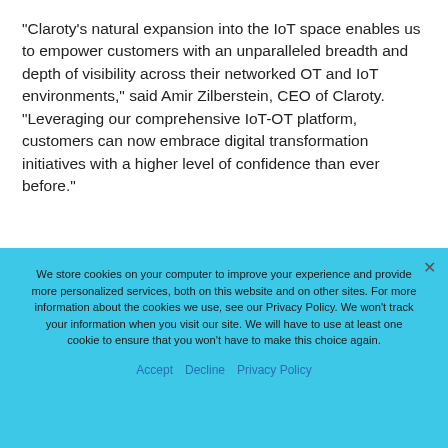“Claroty’s natural expansion into the IoT space enables us to empower customers with an unparalleled breadth and depth of visibility across their networked OT and IoT environments,” said Amir Zilberstein, CEO of Claroty.  “Leveraging our comprehensive IoT-OT platform, customers can now embrace digital transformation initiatives with a higher level of confidence than ever before.”
We store cookies on your computer to improve your experience and provide more personalized services, both on this website and on other sites. For more information about the cookies we use, see our Privacy Policy. We won’t track your information when you visit our site. We will have to use at least one cookie to ensure that you won’t have to make this choice again.
Accept   Decline   Privacy Policy